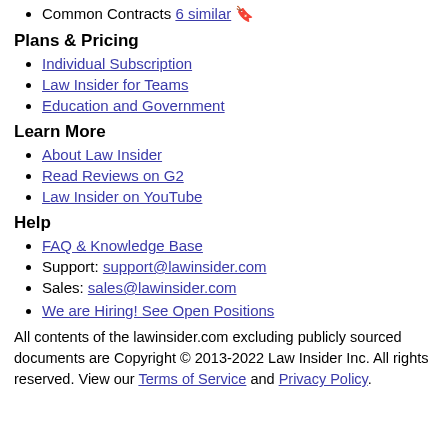Common Contracts 6 similar 🔖
Plans & Pricing
Individual Subscription
Law Insider for Teams
Education and Government
Learn More
About Law Insider
Read Reviews on G2
Law Insider on YouTube
Help
FAQ & Knowledge Base
Support: support@lawinsider.com
Sales: sales@lawinsider.com
We are Hiring! See Open Positions
All contents of the lawinsider.com excluding publicly sourced documents are Copyright © 2013-2022 Law Insider Inc. All rights reserved. View our Terms of Service and Privacy Policy.